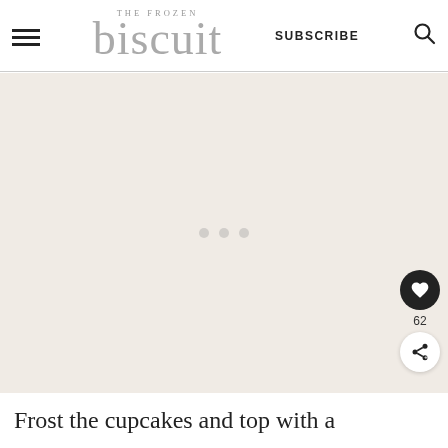THE FROZEN biscuit — SUBSCRIBE
[Figure (photo): Large image area showing a loading placeholder with three dots, light cream/beige background — image of cupcakes not yet loaded]
Frost the cupcakes and top with a